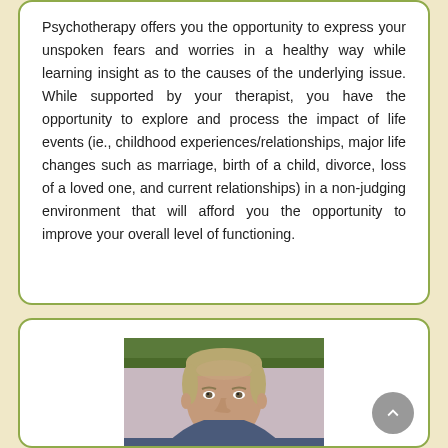Psychotherapy offers you the opportunity to express your unspoken fears and worries in a healthy way while learning insight as to the causes of the underlying issue. While supported by your therapist, you have the opportunity to explore and process the impact of life events (ie., childhood experiences/relationships, major life changes such as marriage, birth of a child, divorce, loss of a loved one, and current relationships) in a non-judging environment that will afford you the opportunity to improve your overall level of functioning.
[Figure (photo): Portrait photo of a middle-aged man with short gray-blond hair, smiling slightly, shown from shoulders up against a light background.]